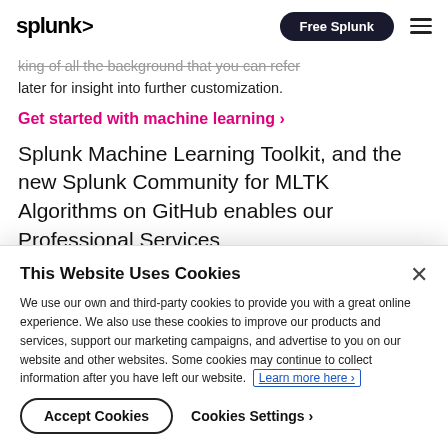splunk> | Free Splunk
...king of all the background that you can refer later for insight into further customization.
Get started with machine learning >
Splunk Machine Learning Toolkit, and the new Splunk Community for MLTK Algorithms on GitHub enables our Professional Services
This Website Uses Cookies
We use our own and third-party cookies to provide you with a great online experience. We also use these cookies to improve our products and services, support our marketing campaigns, and advertise to you on our website and other websites. Some cookies may continue to collect information after you have left our website. Learn more here ›
Accept Cookies | Cookies Settings ›